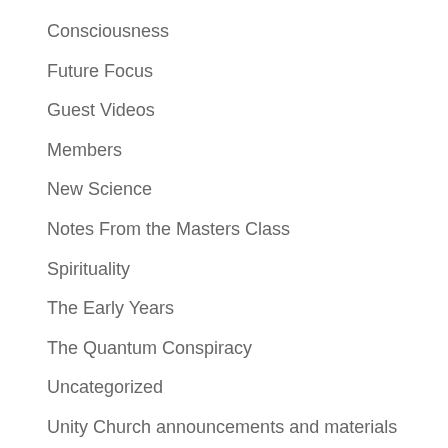Consciousness
Future Focus
Guest Videos
Members
New Science
Notes From the Masters Class
Spirituality
The Early Years
The Quantum Conspiracy
Uncategorized
Unity Church announcements and materials
Upcoming Events
Video Interviews